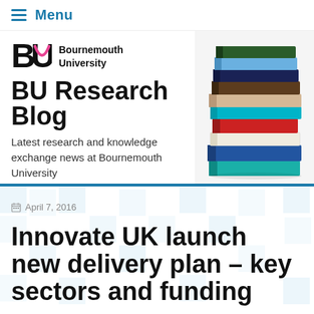Menu
[Figure (logo): Bournemouth University logo with BU letters and stack of books photo, BU Research Blog header banner]
BU Research Blog
Latest research and knowledge exchange news at Bournemouth University
April 7, 2016
Innovate UK launch new delivery plan – key sectors and funding